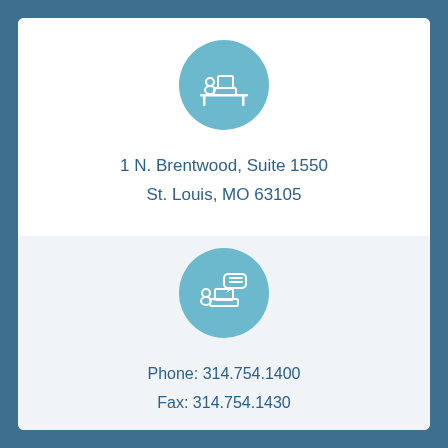[Figure (illustration): Teal circle icon with a person sitting at a desk using a computer, white line art style]
1 N. Brentwood, Suite 1550
St. Louis, MO 63105
[Figure (illustration): Teal circle icon with a person at a laptop with a speech/chat bubble above, white line art style]
Phone: 314.754.1400
Fax: 314.754.1430